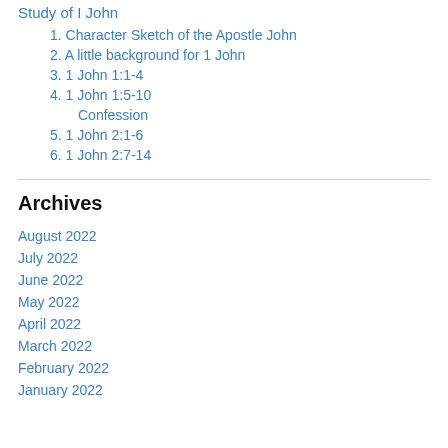Study of I John
1. Character Sketch of the Apostle John
2. A little background for 1 John
3. 1 John 1:1-4
4. 1 John 1:5-10
Confession
5. 1 John 2:1-6
6. 1 John 2:7-14
Archives
August 2022
July 2022
June 2022
May 2022
April 2022
March 2022
February 2022
January 2022